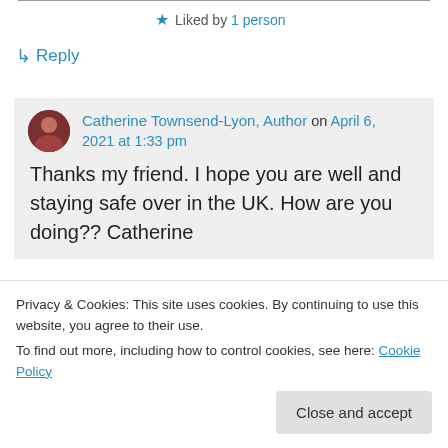★ Liked by 1 person
↳ Reply
Catherine Townsend-Lyon, Author on April 6, 2021 at 1:33 pm
Thanks my friend. I hope you are well and staying safe over in the UK. How are you doing?? Catherine
Privacy & Cookies: This site uses cookies. By continuing to use this website, you agree to their use.
To find out more, including how to control cookies, see here: Cookie Policy
Close and accept
Catherine Townsend-Lyon, Author on April 12